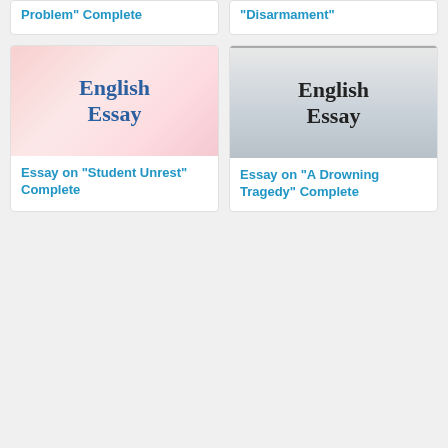Problem” Complete
“Disarmament”
[Figure (illustration): English Essay book cover with pink gradient background]
Essay on “Student Unrest” Complete
[Figure (illustration): English Essay book cover with gray gradient background]
Essay on “A Drowning Tragedy” Complete